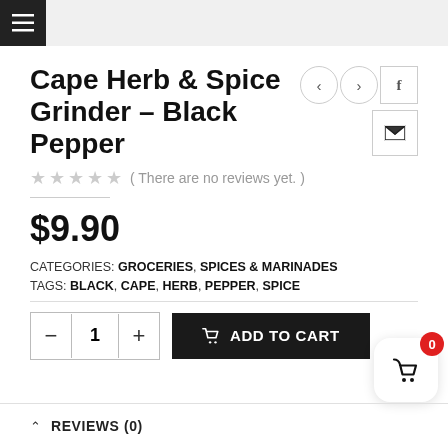☰ (hamburger menu)
Cape Herb & Spice Grinder – Black Pepper
( There are no reviews yet. )
$9.90
CATEGORIES: GROCERIES, SPICES & MARINADES
TAGS: BLACK, CAPE, HERB, PEPPER, SPICE
ADD TO CART
REVIEWS (0)